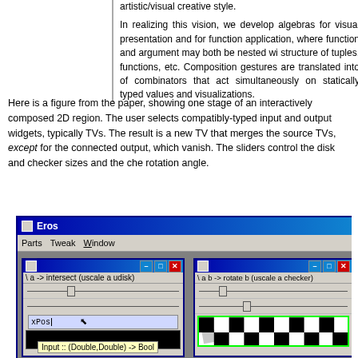artistic/visual creative style.

In realizing this vision, we develop algebras for visual presentation and for function application, where function and argument may both be nested within structure of tuples, functions, etc. Composition gestures are translated into of combinators that act simultaneously on statically typed values and visualizations.
Here is a figure from the paper, showing one stage of an interactively composed 2D region. The user selects compatibly-typed input and output widgets, typically TVs. The result is a new TV that merges the source TVs, except for the connected output, which vanish. The sliders control the disk and checker sizes and the checker rotation angle.
[Figure (screenshot): Screenshot of the 'Eros' application window showing two sub-windows. Left sub-window has lambda expression '\a -> intersect (uscale a udisk)', two sliders, an input field with 'xPos' text, a cursor arrow, and tooltip 'Input :: (Double,Double) -> Bool'. Right sub-window has '\a b -> rotate b (uscale a checker)' label, two sliders, and a checkerboard pattern with green border.]